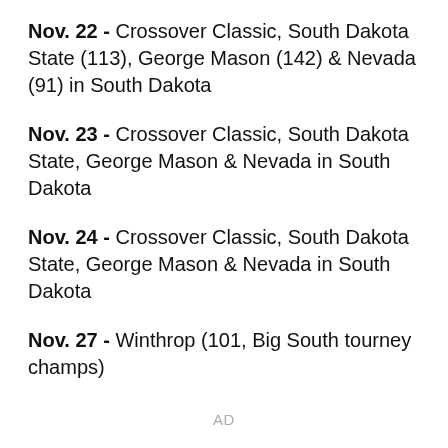Nov. 22 - Crossover Classic, South Dakota State (113), George Mason (142) & Nevada (91) in South Dakota
Nov. 23 - Crossover Classic, South Dakota State, George Mason & Nevada in South Dakota
Nov. 24 - Crossover Classic, South Dakota State, George Mason & Nevada in South Dakota
Nov. 27 - Winthrop (101, Big South tourney champs)
AD